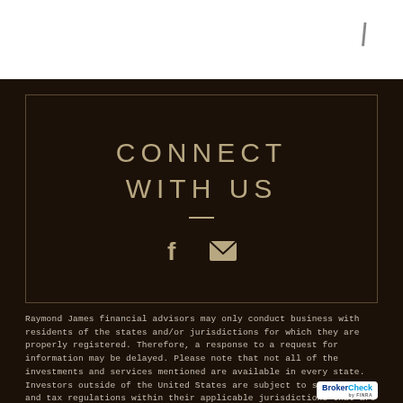CONNECT WITH US
[Figure (illustration): Facebook icon and envelope/email icon in tan/gold color on dark background]
Raymond James financial advisors may only conduct business with residents of the states and/or jurisdictions for which they are properly registered. Therefore, a response to a request for information may be delayed. Please note that not all of the investments and services mentioned are available in every state. Investors outside of the United States are subject to securities and tax regulations within their applicable jurisdictions that are not addressed on this site. Contact your local Raymond James office for information and availability.
Links are being provided for information purposes only. Raymond James is not affiliated with and does not endorse, authorize or sponsor any of the listed websites or their respective Sponsors. Raymond Jam...
[Figure (logo): BrokerCheck by FINRA logo in bottom right corner]